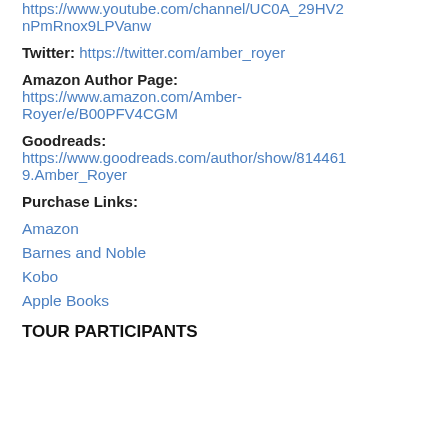https://www.youtube.com/channel/UC0A_29HV2nPmRnox9LPVanw
Twitter: https://twitter.com/amber_royer
Amazon Author Page:
https://www.amazon.com/Amber-Royer/e/B00PFV4CGM
Goodreads:
https://www.goodreads.com/author/show/8144619.Amber_Royer
Purchase Links:
Amazon
Barnes and Noble
Kobo
Apple Books
TOUR PARTICIPANTS